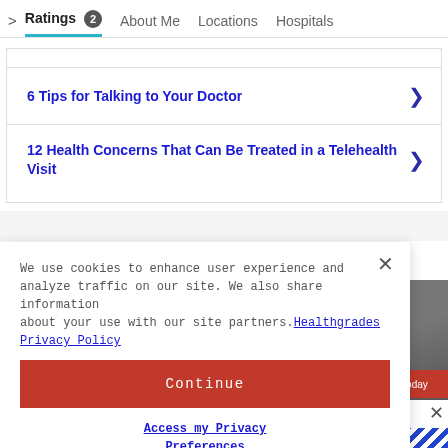Ratings 2   About Me   Locations   Hospitals
6 Tips for Talking to Your Doctor
12 Health Concerns That Can Be Treated in a Telehealth Visit
We use cookies to enhance user experience and analyze traffic on our site. We also share information about your use with our site partners. Healthgrades Privacy Policy
Continue
Access my Privacy Preferences